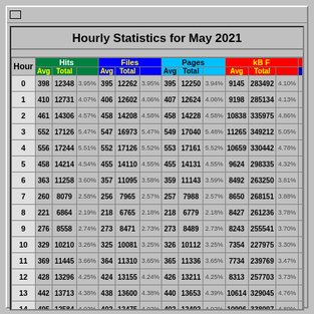Hourly Statistics for May 2021
| Hour | Hits Avg | Hits Total | Hits % | Files Avg | Files Total | Files % | Pages Avg | Pages Total | Pages % | kB F Avg | kB F Total | kB F % |
| --- | --- | --- | --- | --- | --- | --- | --- | --- | --- | --- | --- | --- |
| 0 | 398 | 12348 | 3.95% | 395 | 12262 | 3.95% | 395 | 12250 | 3.94% | 9145 | 283492 | 4.10% |
| 1 | 410 | 12731 | 4.07% | 406 | 12602 | 4.06% | 407 | 12624 | 4.06% | 9198 | 285134 | 4.13% |
| 2 | 461 | 14306 | 4.57% | 458 | 14208 | 4.58% | 458 | 14228 | 4.58% | 10838 | 335975 | 4.86% |
| 3 | 552 | 17126 | 5.47% | 547 | 16973 | 5.47% | 549 | 17040 | 5.48% | 11265 | 349212 | 5.05% |
| 4 | 556 | 17244 | 5.51% | 552 | 17126 | 5.52% | 553 | 17161 | 5.52% | 10659 | 330442 | 4.78% |
| 5 | 458 | 14214 | 4.54% | 455 | 14110 | 4.55% | 455 | 14131 | 4.55% | 9624 | 298335 | 4.32% |
| 6 | 363 | 11258 | 3.60% | 357 | 11095 | 3.58% | 359 | 11143 | 3.59% | 8492 | 263250 | 3.81% |
| 7 | 260 | 8079 | 2.58% | 256 | 7965 | 2.57% | 257 | 7988 | 2.57% | 8650 | 268151 | 3.88% |
| 8 | 221 | 6864 | 2.19% | 218 | 6765 | 2.18% | 218 | 6779 | 2.18% | 8427 | 261236 | 3.78% |
| 9 | 276 | 8558 | 2.74% | 273 | 8471 | 2.73% | 273 | 8489 | 2.73% | 8243 | 255541 | 3.70% |
| 10 | 329 | 10210 | 3.26% | 325 | 10081 | 3.25% | 326 | 10112 | 3.25% | 7354 | 227975 | 3.30% |
| 11 | 369 | 11445 | 3.66% | 364 | 11310 | 3.65% | 365 | 11336 | 3.65% | 7734 | 239769 | 3.47% |
| 12 | 428 | 13296 | 4.25% | 424 | 13155 | 4.24% | 426 | 13211 | 4.25% | 8313 | 257703 | 3.73% |
| 13 | 442 | 13713 | 4.38% | 438 | 13600 | 4.38% | 440 | 13653 | 4.39% | 10614 | 329045 | 4.76% |
| 14 | 405 | 12584 | 4.02% | 402 | 12475 | 4.02% | 402 | 12492 | 4.02% | 10906 | 338097 | 4.89% |
| 15 | 428 | 13296 | 4.25% | 425 | 13193 | 4.25% | 425 | 13204 | 4.25% | 9735 | 301790 | 4.37% |